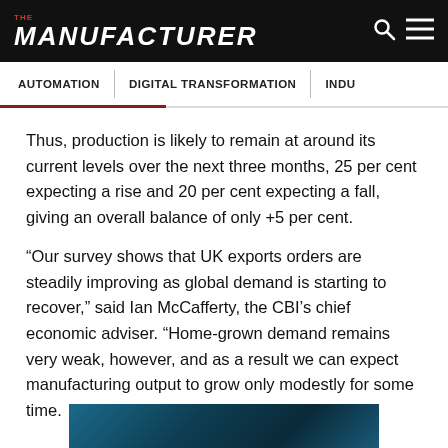THE MANUFACTURER
AUTOMATION | DIGITAL TRANSFORMATION | INDU
Thus, production is likely to remain at around its current levels over the next three months, 25 per cent expecting a rise and 20 per cent expecting a fall, giving an overall balance of only +5 per cent.
“Our survey shows that UK exports orders are steadily improving as global demand is starting to recover,” said Ian McCafferty, the CBI’s chief economic adviser. “Home-grown demand remains very weak, however, and as a result we can expect manufacturing output to grow only modestly for some time.
[Figure (photo): Partial image of what appears to be a manufacturing or industrial scene with blue/teal tones, cropped at the bottom of the page.]